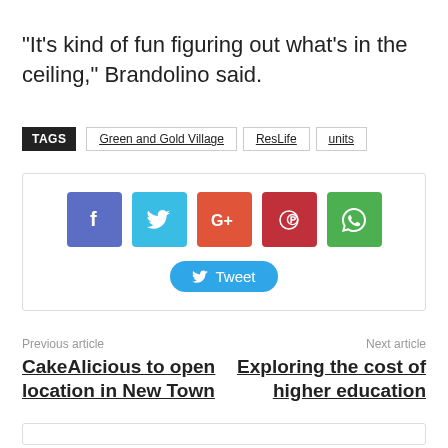“It’s kind of fun figuring out what’s in the ceiling,” Brandolino said.
TAGS  Green and Gold Village  ResLife  units
[Figure (infographic): Social share buttons: Facebook, Twitter, Google+, Pinterest, WhatsApp, and a Tweet button]
Previous article
CakeAlicious to open location in New Town
Next article
Exploring the cost of higher education